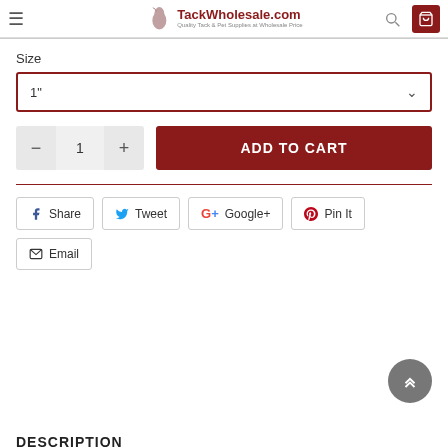TackWholesale.com — Quality Tack & Pet Supplies at Wholesale Price
Size
1"
1
ADD TO CART
Share
Tweet
Google+
Pin It
Email
DESCRIPTION